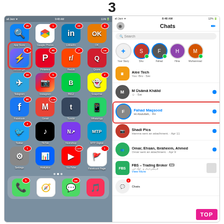3
[Figure (screenshot): Two smartphone screenshots side by side. Left: iPhone home screen with various app icons (App Store, Google Photos, LinkedIn, OK, Messenger highlighted with red border, Pinterest, Reddit, Quora, Telegram, Instagram, B612, Snapchat, Facebook, Gmail, Tumblr, WhatsApp, Twitter, TikTok, NumShop, MTP Digital, Settings, Analytics, YouTube, Facebook Page). Right: Facebook Messenger Chats screen showing stories for Sho, Fahad, Hina, Muhammad and chat list including Alee Tech, M Usama Khalid, Fahad Maqsood (highlighted with red border, Hi Abdullah, Fri), Shadi Pics, Omar/Ehsan/Ibraheem/Ahmed, FBS Trading Broker. TOP button visible bottom right.]